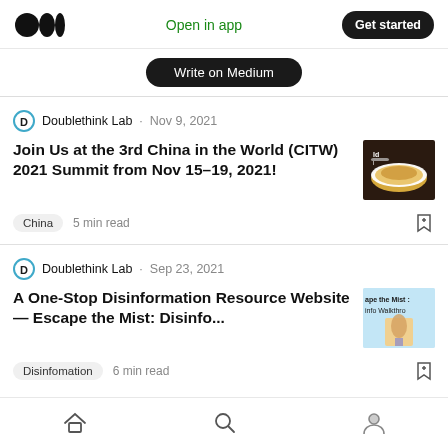Open in app | Get started
Write on Medium
Doublethink Lab · Nov 9, 2021
Join Us at the 3rd China in the World (CITW) 2021 Summit from Nov 15–19, 2021!
China  5 min read
Doublethink Lab · Sep 23, 2021
A One-Stop Disinformation Resource Website — Escape the Mist: Disinfo...
Disinfomation  6 min read
Home | Search | Profile